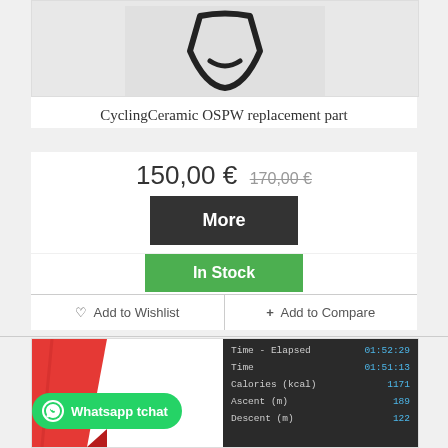[Figure (photo): Product image of CyclingCeramic OSPW replacement part on light gray background]
CyclingCeramic OSPW replacement part
150,00 € 170,00 €
More
In Stock
♡ Add to Wishlist
+ Add to Compare
[Figure (screenshot): Bottom portion showing another product card with red ribbon badge, WhatsApp tchat button, and a stats table showing Time-Elapsed 01:52:29, Time 01:51:13, Calories (kcal) 1171, Ascent (m) 189, Descent (m) 122]